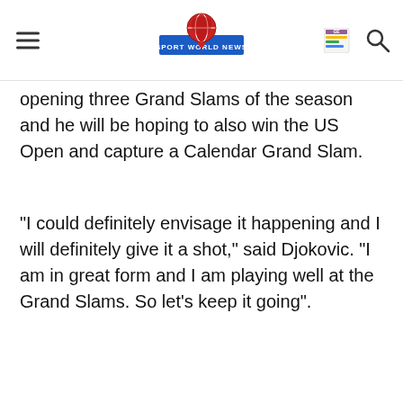Sport World News
opening three Grand Slams of the season and he will be hoping to also win the US Open and capture a Calendar Grand Slam.
“I could definitely envisage it happening and I will definitely give it a shot," said Djokovic. "I am in great form and I am playing well at the Grand Slams. So let’s keep it going”.
[Figure (infographic): Share button icon (circle with share symbol) and SHARE text]
Deshaun Watson keeps